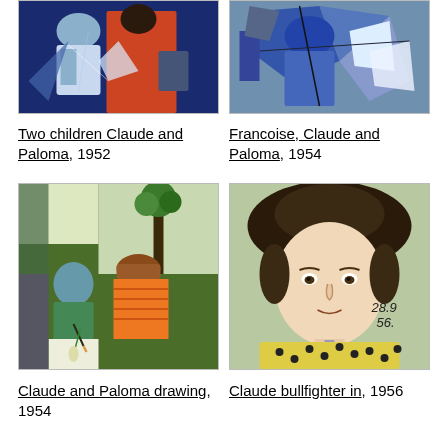[Figure (photo): Painting: Two children Claude and Paloma, 1952 by Picasso — cubist style with blue, white and red/orange figures]
[Figure (photo): Painting: Francoise, Claude and Paloma, 1954 by Picasso — cubist style with blue and grey tones]
Two children Claude and Paloma, 1952
Francoise, Claude and Paloma, 1954
[Figure (photo): Painting: Claude and Paloma drawing, 1954 by Picasso — green garden scene with children drawing]
[Figure (photo): Painting: Claude bullfighter in, 1956 by Picasso — realistic portrait of a boy in bullfighter costume with hat]
Claude and Paloma drawing, 1954
Claude bullfighter in, 1956